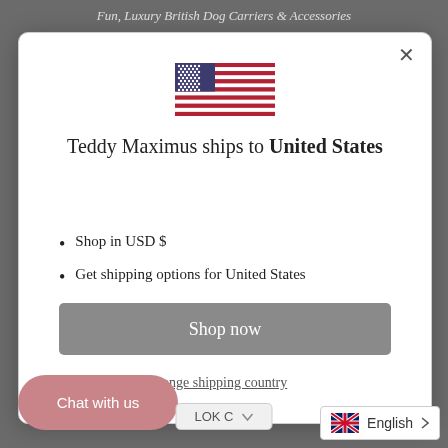Fun, Luxury British Dog Carriers & Accessories
[Figure (illustration): US flag emoji/icon centered in modal]
Teddy Maximus ships to United States
Shop in USD $
Get shipping options for United States
Shop now
ange shipping country
Chat with us
LOK C
English